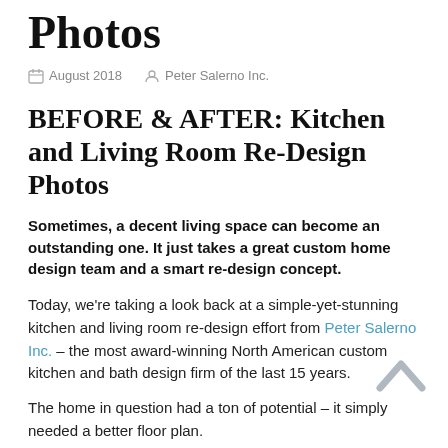Photos
August 2018   Peter Salerno Inc.
BEFORE & AFTER: Kitchen and Living Room Re-Design Photos
Sometimes, a decent living space can become an outstanding one. It just takes a great custom home design team and a smart re-design concept.
Today, we're taking a look back at a simple-yet-stunning kitchen and living room re-design effort from Peter Salerno Inc. – the most award-winning North American custom kitchen and bath design firm of the last 15 years.
The home in question had a ton of potential – it simply needed a better floor plan.